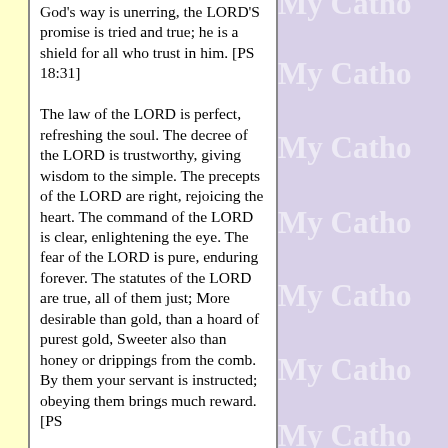God's way is unerring, the LORD'S promise is tried and true; he is a shield for all who trust in him. [PS 18:31]

The law of the LORD is perfect, refreshing the soul. The decree of the LORD is trustworthy, giving wisdom to the simple. The precepts of the LORD are right, rejoicing the heart. The command of the LORD is clear, enlightening the eye. The fear of the LORD is pure, enduring forever. The statutes of the LORD are true, all of them just; More desirable than gold, than a hoard of purest gold, Sweeter also than honey or drippings from the comb. By them your servant is instructed; obeying them brings much reward. [PS
[Figure (other): Repeated 'My Catho' watermark text on purple/lavender background, partially cropped on the right side of the page]